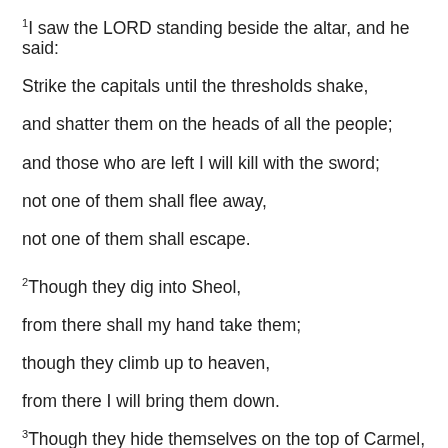1I saw the LORD standing beside the altar, and he said:
Strike the capitals until the thresholds shake,
and shatter them on the heads of all the people;
and those who are left I will kill with the sword;
not one of them shall flee away,
not one of them shall escape.
2Though they dig into Sheol,
from there shall my hand take them;
though they climb up to heaven,
from there I will bring them down.
3Though they hide themselves on the top of Carmel,